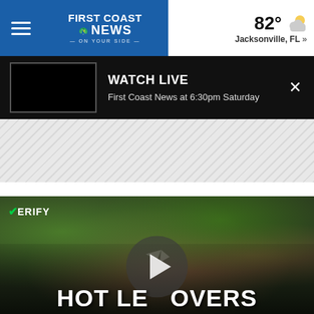First Coast News | 82° Jacksonville, FL »
WATCH LIVE
First Coast News at 6:30pm Saturday
[Figure (photo): Gray hatched advertisement placeholder area]
[Figure (photo): Dark blurred background photo with food/kitchen scene showing VERIFY badge, play button, and text HOT LEFTOVERS]